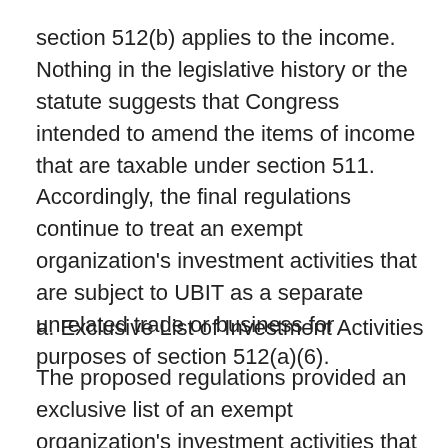section 512(b) applies to the income. Nothing in the legislative history or the statute suggests that Congress intended to amend the items of income that are taxable under section 511. Accordingly, the final regulations continue to treat an exempt organization's investment activities that are subject to UBIT as a separate unrelated trade or business for purposes of section 512(a)(6).
a. Exclusive List of Investment Activities
The proposed regulations provided an exclusive list of an exempt organization's investment activities that may be treated as a separate unrelated trade or business for purposes of section 512(a)(6). Under the proposed regulations, for most exempt